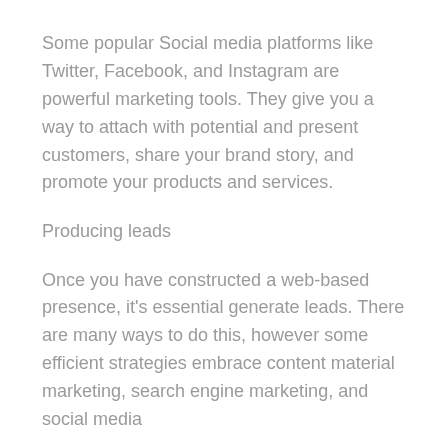Some popular Social media platforms like Twitter, Facebook, and Instagram are powerful marketing tools. They give you a way to attach with potential and present customers, share your brand story, and promote your products and services.
Producing leads
Once you have constructed a web-based presence, it's essential generate leads. There are many ways to do this, however some efficient strategies embrace content material marketing, search engine marketing, and social media